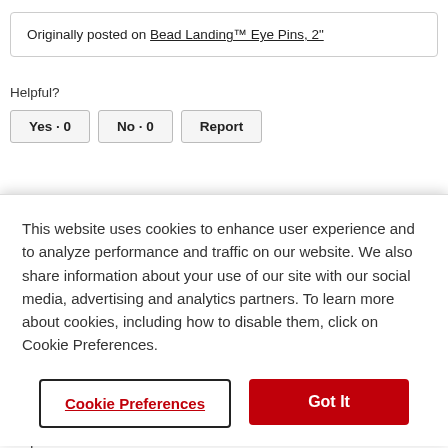Originally posted on Bead Landing™ Eye Pins, 2"
Helpful?
Yes · 0   No · 0   Report
This website uses cookies to enhance user experience and to analyze performance and traffic on our website. We also share information about your use of our site with our social media, advertising and analytics partners. To learn more about cookies, including how to disable them, click on Cookie Preferences.
Cookie Preferences
Got It
Helpful?